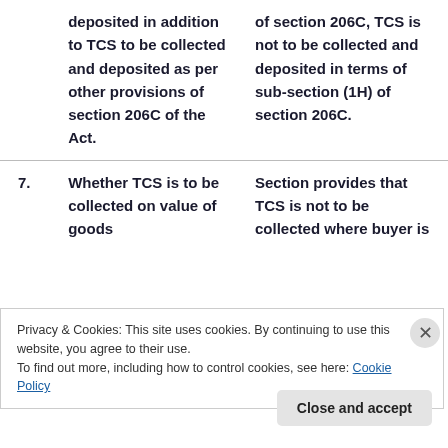|  | Question | Answer |
| --- | --- | --- |
|  | deposited in addition to TCS to be collected and deposited as per other provisions of section 206C of the Act. | of section 206C, TCS is not to be collected and deposited in terms of sub-section (1H) of section 206C. |
| 7. | Whether TCS is to be collected on value of goods | Section provides that TCS is not to be collected where buyer is |
Privacy & Cookies: This site uses cookies. By continuing to use this website, you agree to their use.
To find out more, including how to control cookies, see here: Cookie Policy